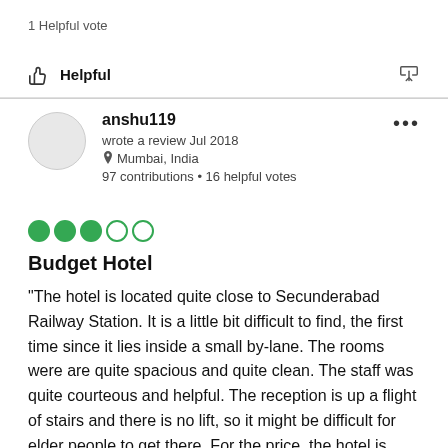1 Helpful vote
Helpful
anshu119
wrote a review Jul 2018
Mumbai, India
97 contributions • 16 helpful votes
Budget Hotel
“The hotel is located quite close to Secunderabad Railway Station. It is a little bit difficult to find, the first time since it lies inside a small by-lane. The rooms were are quite spacious and quite clean. The staff was quite courteous and helpful. The reception is up a flight of stairs and there is no lift, so it might be difficult for elder people to get there. For the price, the hotel is quite good. P.S. - Though the rooms were clean, we had some issues with cockroaches. It seems that there was an